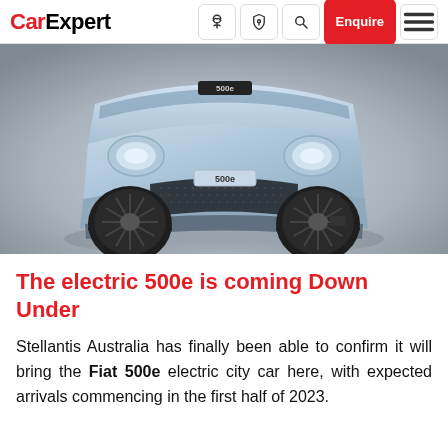CarExpert — navigation bar with logo, icons, Enquire button, and menu
[Figure (photo): Front view of a light blue Fiat 500e electric city car on a grey studio background. The 500e badge is visible on the hood and lower front fascia.]
The electric 500e is coming Down Under
Stellantis Australia has finally been able to confirm it will bring the Fiat 500e electric city car here, with expected arrivals commencing in the first half of 2023.